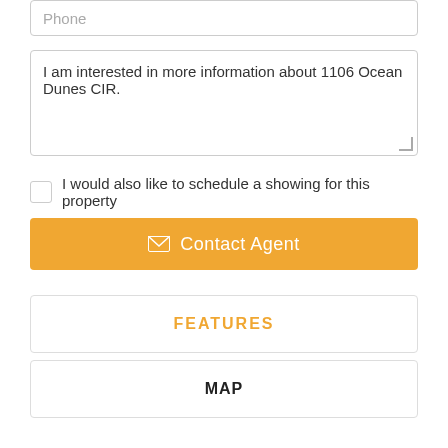Phone
I am interested in more information about 1106 Ocean Dunes CIR.
I would also like to schedule a showing for this property
✉ Contact Agent
FEATURES
MAP
COMMUNITY STATS
SCHOOLS
WHAT'S NEARBY